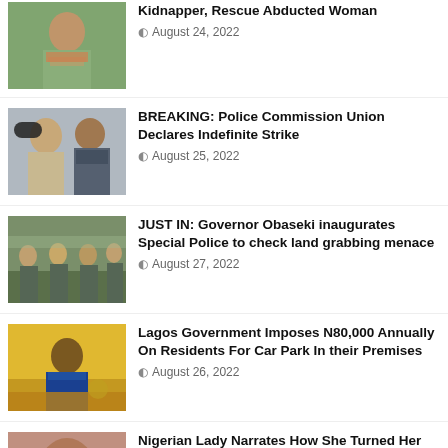[Figure (photo): Person in striped shirt outdoors]
Kidnapper, Rescue Abducted Woman
August 24, 2022
[Figure (photo): Two men, one in police uniform and beret]
BREAKING: Police Commission Union Declares Indefinite Strike
August 25, 2022
[Figure (photo): Group of armed police/security troops standing]
JUST IN: Governor Obaseki inaugurates Special Police to check land grabbing menace
August 27, 2022
[Figure (photo): Male official in blue suit at podium with yellow background]
Lagos Government Imposes N80,000 Annually On Residents For Car Park In their Premises
August 26, 2022
[Figure (photo): Nigerian woman, close up face shot]
Nigerian Lady Narrates How She Turned Her Life Around For Good After She Stopped Being A Prostitute (VIDEO)